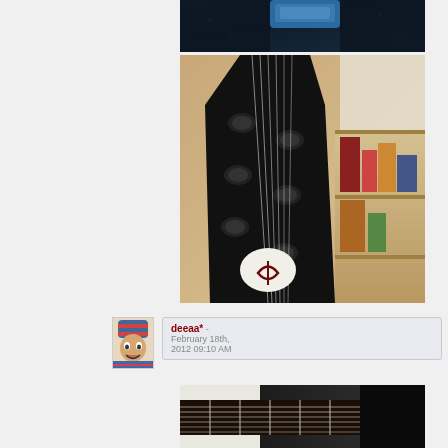[Figure (photo): Partial photo showing a blue object against dark fabric background, top portion of a guitar case or instrument]
[Figure (photo): Close-up photo of an electric guitar headstock with tuning pegs and strings, brand logo visible on the headstock, bookshelf visible in background]
[Figure (photo): Small avatar portrait photo of a person wearing a striped hat/beanie and scarf, making a face]
deeaa* - February 18th, 2012 09:10 AM
[Figure (photo): Partial photo of electric guitar body showing fretboard and strings, black and white coloring]